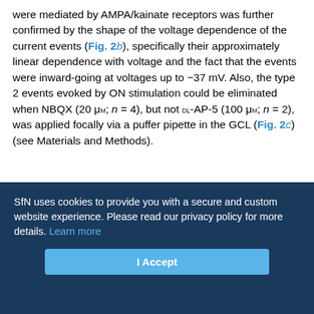were mediated by AMPA/kainate receptors was further confirmed by the shape of the voltage dependence of the current events (Fig. 2b), specifically their approximately linear dependence with voltage and the fact that the events were inward-going at voltages up to −37 mV. Also, the type 2 events evoked by ON stimulation could be eliminated when NBQX (20 μM; n = 4), but not DL-AP-5 (100 μM; n = 2), was applied focally via a puffer pipette in the GCL (Fig. 2c) (see Materials and Methods).
[Figure (other): Partially visible figure panel, content cropped]
SfN uses cookies to provide you with a secure and custom website experience. Please read our privacy policy for more details. Learn more